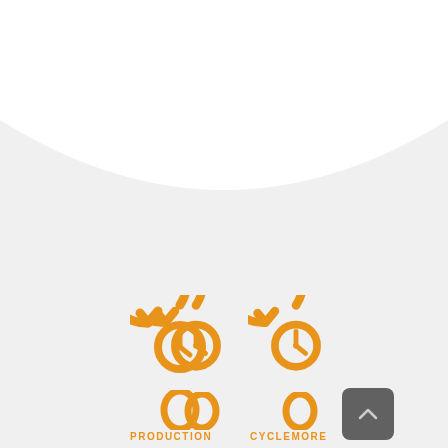[Figure (illustration): Page with a white wave/arch shape at the top on a light gray background, and two orange history/rewind clock icons below with digit '0' beneath each, and text labels 'PRODUCTION' and 'CYCLEMORE' at the bottom. A dark gray scroll-to-top button overlaps the second icon.]